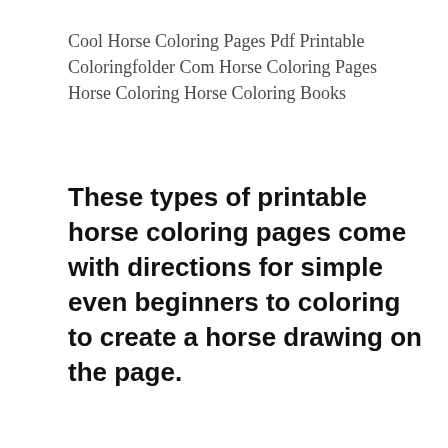Cool Horse Coloring Pages Pdf Printable Coloringfolder Com Horse Coloring Pages Horse Coloring Horse Coloring Books
These types of printable horse coloring pages come with directions for simple even beginners to coloring to create a horse drawing on the page.